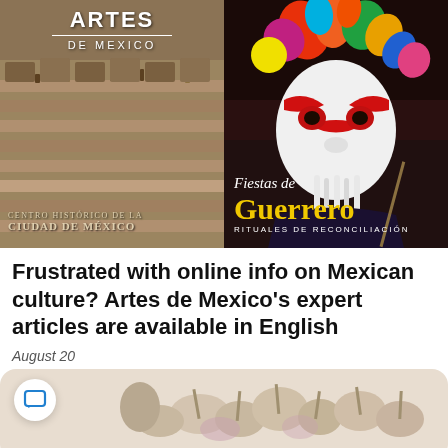[Figure (photo): Two magazine covers side by side. Left: Artes de Mexico magazine showing 'Centro Histórico de la Ciudad de México' with a historical painting. Right: 'Fiestas de Guerrero – Rituales de Reconciliación' with a colorful festival masked dancer.]
Frustrated with online info on Mexican culture? Artes de Mexico's expert articles are available in English
August 20
[Figure (photo): Bottom partial image showing what appears to be garlic or similar vegetables, with a chat bubble icon overlay in blue on white circle.]